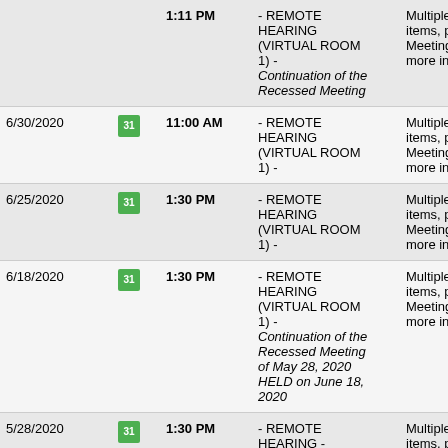| Date |  | Time | Location | Description |
| --- | --- | --- | --- | --- |
|  |  | 1:11 PM | - REMOTE HEARING (VIRTUAL ROOM 1) - Continuation of the Recessed Meeting | Multiple items, please see Meeting... more inf |
| 6/30/2020 | 31 | 11:00 AM | - REMOTE HEARING (VIRTUAL ROOM 1) - | Multiple items, please see Meeting... more inf |
| 6/25/2020 | 31 | 1:30 PM | - REMOTE HEARING (VIRTUAL ROOM 1) - | Multiple items, please see Meeting... more inf |
| 6/18/2020 | 31 | 1:30 PM | - REMOTE HEARING (VIRTUAL ROOM 1) - Continuation of the Recessed Meeting of May 28, 2020 HELD on June 18, 2020 | Multiple items, please see Meeting... more inf |
| 5/28/2020 | 31 | 1:30 PM | - REMOTE HEARING - Meeting in Recess | Multiple items, please see Meeting... more inf |